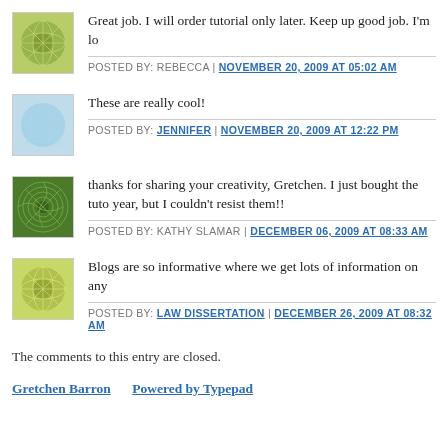Great job. I will order tutorial only later. Keep up good job. I'm lo — POSTED BY: REBECCA | NOVEMBER 20, 2009 AT 05:02 AM
These are really cool! — POSTED BY: JENNIFER | NOVEMBER 20, 2009 AT 12:22 PM
thanks for sharing your creativity, Gretchen. I just bought the tuto… year, but I couldn't resist them!! — POSTED BY: KATHY SLAMAR | DECEMBER 06, 2009 AT 08:33 AM
Blogs are so informative where we get lots of information on any… — POSTED BY: LAW DISSERTATION | DECEMBER 26, 2009 AT 08:32 AM
The comments to this entry are closed.
Gretchen Barron   Powered by Typepad